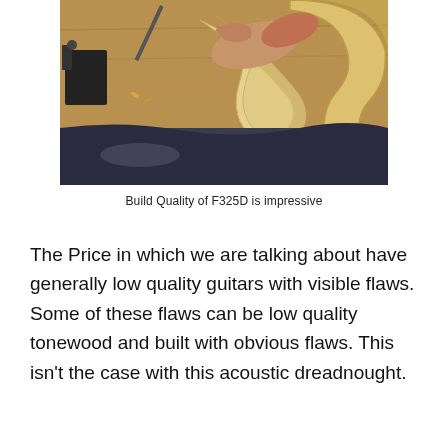[Figure (photo): Close-up photo of a luthier's hands working on building a guitar, bending/shaping thin strips of wood (linings/kerfing) on a guitar body form, with clamps and tools visible on a workbench.]
Build Quality of F325D is impressive
The Price in which we are talking about have generally low quality guitars with visible flaws. Some of these flaws can be low quality tonewood and built with obvious flaws. This isn't the case with this acoustic dreadnought.